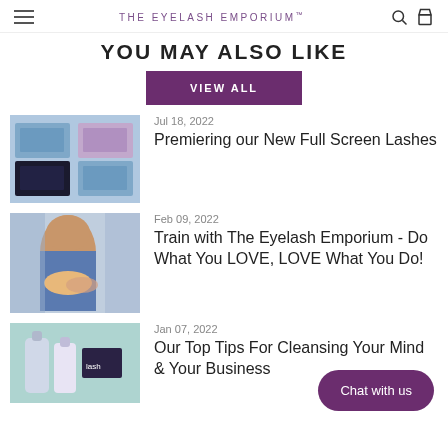THE EYELASH EMPORIUM
YOU MAY ALSO LIKE
VIEW ALL
[Figure (photo): Blue lash product packaging boxes arranged on a surface]
Jul 18, 2022
Premiering our New Full Screen Lashes
[Figure (photo): Woman with long hair applying eyelash extensions to a client]
Feb 09, 2022
Train with The Eyelash Emporium - Do What You LOVE, LOVE What You Do!
[Figure (photo): Eyelash care products including bottles and tools on teal background]
Jan 07, 2022
Our Top Tips For Cleansing Your Mind & Your Business